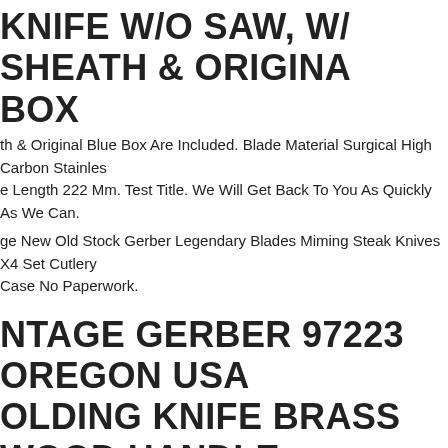KNIFE W/O SAW, W/ SHEATH & ORIGINAL BOX
th & Original Blue Box Are Included. Blade Material Surgical High Carbon Stainless. e Length 222 Mm. Test Title. We Will Get Back To You As Quickly As We Can.
ge New Old Stock Gerber Legendary Blades Miming Steak Knives X4 Set Cutlery. Case No Paperwork.
VINTAGE GERBER 97223 OREGON USA FOLDING KNIFE BRASS WOOD HANDLE
ge Gerber 97223 Oregon Usa Folding Knife Brass Wood Handle. Condition Is "us. ped With Usps First Class.
ge Gerber Folding Sportsman Ii Fs 2 Lockback Pocket Knife W/ Original Box. Ge. es Are Typically Treated With A Jewelers Laquer That Is Starting To Wear, As. cted. Still Opens And Closes With An Audible Snap. No Wiggle Or Wobble. Includ. Original Box And Paper.
ge Gerber Pro-guide Ii Fixed Blade Hunting Knife 975 #04268 Caper. The Weight